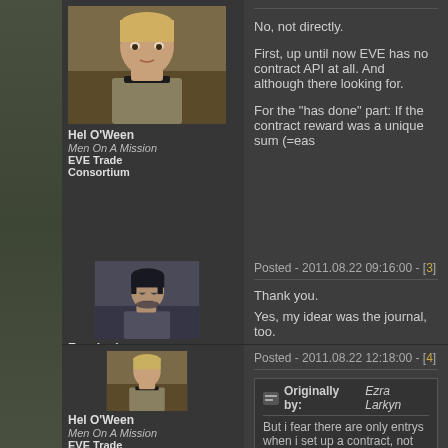[Figure (photo): Avatar image of Hel O'Ween character, blond male]
Hel O'Ween
Men On A Mission
EVE Trade Consortium
No, not directly.

First, up until now EVE has no contract API at all. And although there looking for.

For the "has done" part: If the contract reward was a unique sum (=eas
Posted - 2011.08.22 09:16:00 - [3]
[Figure (photo): Avatar image of Ezra Larkyn character, dark hair looking down]
Ezra Larkyn
Quafe Logistics
Thank you.

Yes, my idear was the journal, too.

But i fear there are only entrys when i set up a contract, not when it is

Hm, i think i have to set up some contracts to test this.
I hope i could do it tonight...
Posted - 2011.08.22 12:18:00 - [4]
[Figure (photo): Avatar image of Hel O'Ween character, blond male]
Hel O'Ween
Men On A Mission
EVE Trade Consortium
Originally by: Ezra Larkyn
But i fear there are only entrys when i set up a contract, not when
That depends. Looking at the different refTypes (which you could hav